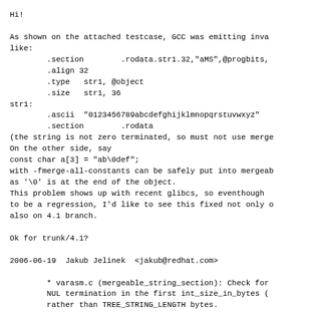Hi!
As shown on the attached testcase, GCC was emitting invalid assembly
like:
        .section        .rodata.str1.32,"aMS",@progbits,1
        .align 32
        .type   str1, @object
        .size   str1, 36
str1:
        .ascii  "0123456789abcdefghijklmnopqrstuvwxyz"
        .section        .rodata
(the string is not zero terminated, so must not use mergeable sections).
On the other side, say
const char a[3] = "ab\0def";
with -fmerge-all-constants can be safely put into mergeable section,
as '\0' is at the end of the object.
This problem shows up with recent glibcs, so eventhough it doesn't seem
to be a regression, I'd like to see this fixed not only on trunk, but
also on 4.1 branch.

Ok for trunk/4.1?

2006-06-19  Jakub Jelinek  <jakub@redhat.com>

        * varasm.c (mergeable_string_section): Check for
        NUL termination in the first int_size_in_bytes (TYPE)
        rather than TREE_STRING_LENGTH bytes.

        * gcc.dg/merge-all-constants-1.c: New test.